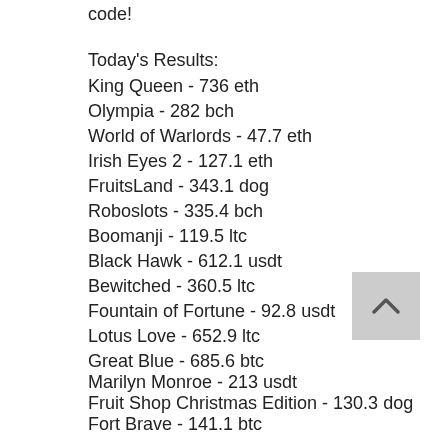code!
Today's Results:
King Queen - 736 eth
Olympia - 282 bch
World of Warlords - 47.7 eth
Irish Eyes 2 - 127.1 eth
FruitsLand - 343.1 dog
Roboslots - 335.4 bch
Boomanji - 119.5 ltc
Black Hawk - 612.1 usdt
Bewitched - 360.5 ltc
Fountain of Fortune - 92.8 usdt
Lotus Love - 652.9 ltc
Great Blue - 685.6 btc
Marilyn Monroe - 213 usdt
Fruit Shop Christmas Edition - 130.3 dog
Fort Brave - 141.1 btc
Play Bitcoin Slots and Casino Games Online: